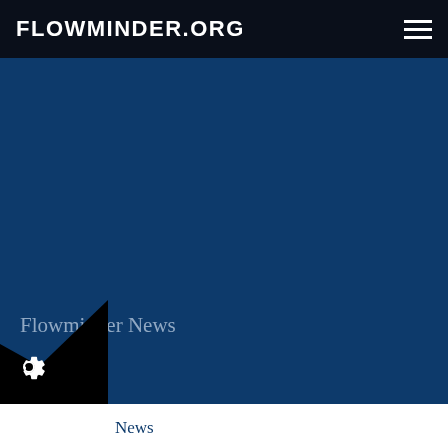FLOWMINDER.ORG
Flowminder News
News